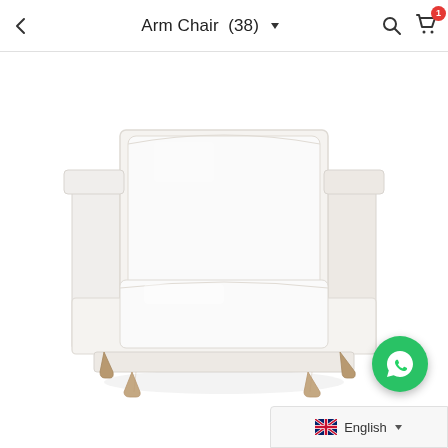Arm Chair (38)
[Figure (photo): A modern white upholstered arm chair with clean lines, square arms, a cushioned back and seat, and four tapered wooden legs in a light brown finish, photographed against a white background.]
English